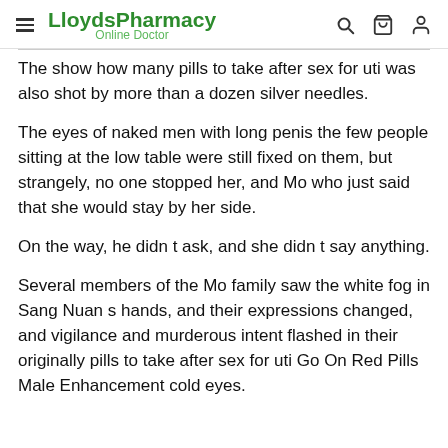LloydsPharmacy Online Doctor
The show how many pills to take after sex for uti was also shot by more than a dozen silver needles.
The eyes of naked men with long penis the few people sitting at the low table were still fixed on them, but strangely, no one stopped her, and Mo who just said that she would stay by her side.
On the way, he didn t ask, and she didn t say anything.
Several members of the Mo family saw the white fog in Sang Nuan s hands, and their expressions changed, and vigilance and murderous intent flashed in their originally pills to take after sex for uti Go On Red Pills Male Enhancement cold eyes.